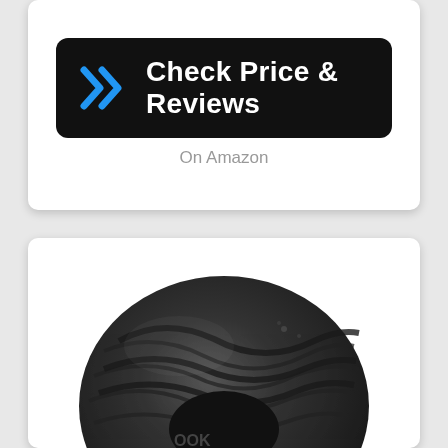[Figure (illustration): Black rounded-rectangle button with blue double chevron arrows on the left and white bold text 'Check Price & Reviews' on a black background]
On Amazon
[Figure (photo): A dark grey/black motorcycle or scooter tire shown in close-up with wavy tread pattern, partially cut off at the bottom. The tire brand 'KOOK' is partially visible.]